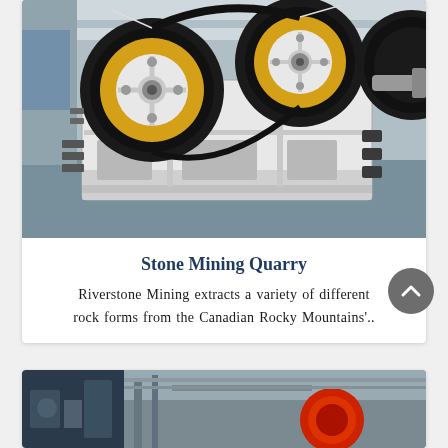[Figure (photo): Industrial jaw crusher machine with large black and yellow flywheels, white frame body, photographed in a factory/warehouse setting with grey floor and industrial lighting.]
Stone Mining Quarry
Riverstone Mining extracts a variety of different rock forms from the Canadian Rocky Mountains'..
[Figure (photo): Partial view of another industrial mining machine, showing a red circular component, photographed in a dark industrial setting.]